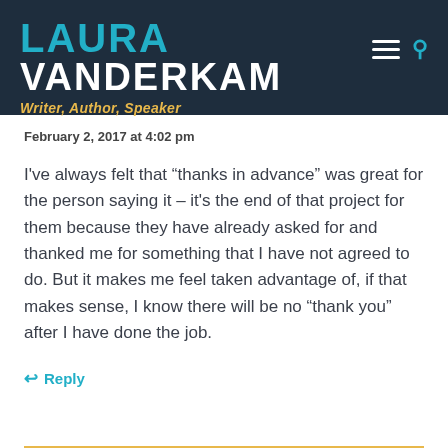LAURA VANDERKAM Writer, Author, Speaker
February 2, 2017 at 4:02 pm
I've always felt that “thanks in advance” was great for the person saying it – it's the end of that project for them because they have already asked for and thanked me for something that I have not agreed to do. But it makes me feel taken advantage of, if that makes sense, I know there will be no “thank you” after I have done the job.
Reply